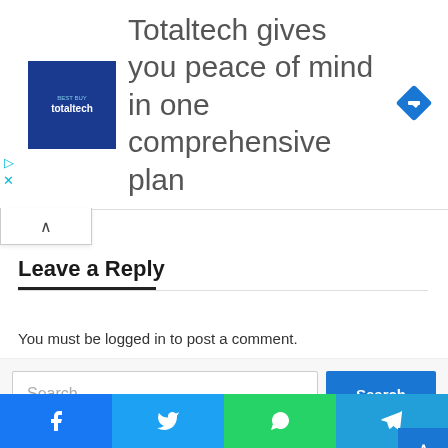[Figure (other): Advertisement banner for Totaltech with blue square logo on left showing 'totaltech' branding, large text 'Totaltech gives you peace of mind in one comprehensive plan', and a blue diamond-shaped arrow icon on the right. Close/skip icons on far left.]
Leave a Reply
You must be logged in to post a comment.
Search …
Recent Posts